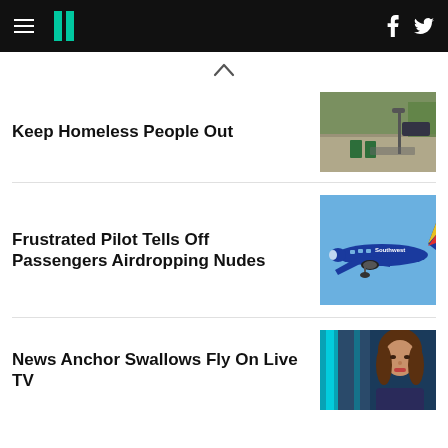HuffPost navigation bar with hamburger menu, logo, Facebook and Twitter icons
Keep Homeless People Out
[Figure (photo): Outdoor plaza or street area with green bins and urban furniture, aerial/surveillance view]
Frustrated Pilot Tells Off Passengers Airdropping Nudes
[Figure (photo): Southwest Airlines blue and red airplane in flight against a blue sky]
News Anchor Swallows Fly On Live TV
[Figure (photo): Female news anchor with brown hair in a TV studio setting]